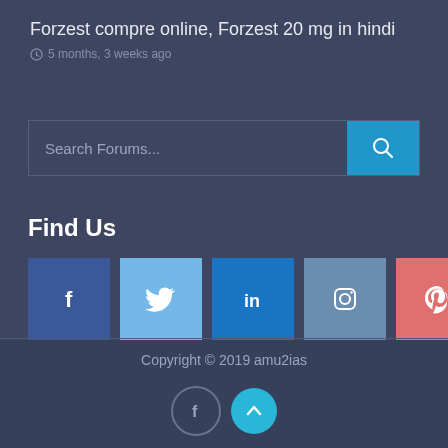Forzest compre online, Forzest 20 mg in hindi
5 months, 3 weeks ago
[Figure (screenshot): Search Forums input box with blue search button]
Find Us
[Figure (infographic): Social media icons: Facebook, Twitter, LinkedIn, Instagram, Pinterest]
Copyright © 2019 amu2ias